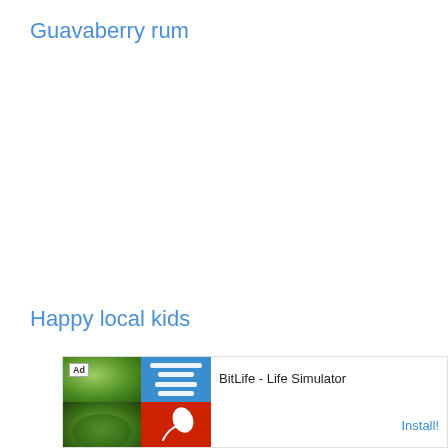Guavaberry rum
Happy local kids
[Figure (infographic): Advertisement banner for BitLife - Life Simulator app. Shows Ad label, colorful app screenshots on the left (green backgrounds, blue panel, red panel with sperm logo), app name 'BitLife - Life Simulator' in the center, and an 'Install!' call-to-action button on the right.]